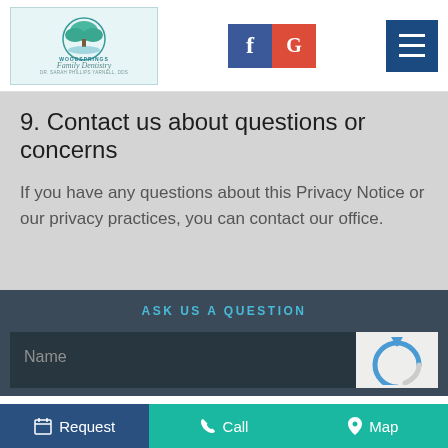[Figure (logo): WoodSprings Family Dentistry logo with tree illustration and text 'DR. SARAH PHILLIPS YARNELL, DDS']
[Figure (logo): Facebook and Google social media icons]
[Figure (other): Hamburger menu icon (three horizontal lines) on dark blue background]
9. Contact us about questions or concerns
If you have any questions about this Privacy Notice or our privacy practices, you can contact our office.
ASK US A QUESTION
Request   Call   Map